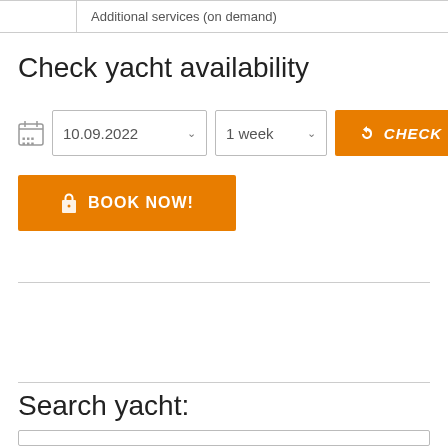|  |  |
| --- | --- |
|  | Additional services (on demand) |
Check yacht availability
[Figure (screenshot): Date picker showing 10.09.2022 with dropdown arrow, duration selector showing '1 week' with dropdown arrow, and orange CHECK button with arrow icon]
[Figure (screenshot): Orange BOOK NOW! button with lock icon]
Search yacht:
[Figure (screenshot): Empty search input text box]